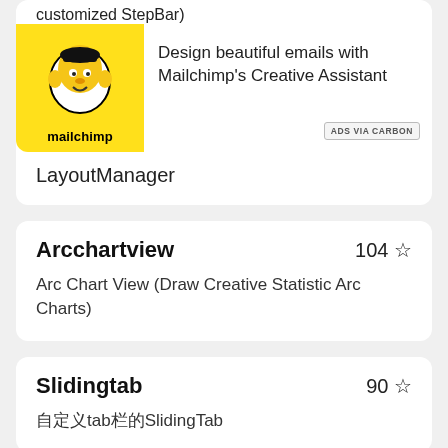customized StepBar)
[Figure (logo): Mailchimp yellow logo with monkey mascot and 'mailchimp' text]
Design beautiful emails with Mailchimp's Creative Assistant
ADS VIA CARBON
LayoutManager
Arcchartview
104 ☆
Arc Chart View (Draw Creative Statistic Arc Charts)
Slidingtab
90 ☆
自定义tab栏的SlidingTab
Maven Ticker